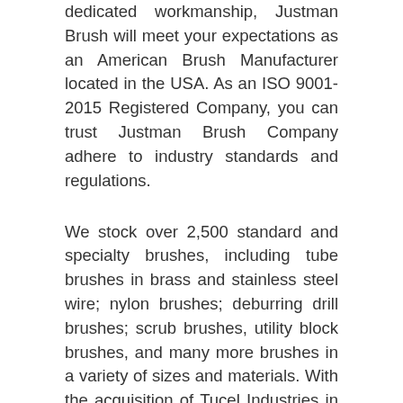dedicated workmanship, Justman Brush will meet your expectations as an American Brush Manufacturer located in the USA. As an ISO 9001-2015 Registered Company, you can trust Justman Brush Company adhere to industry standards and regulations.
We stock over 2,500 standard and specialty brushes, including tube brushes in brass and stainless steel wire; nylon brushes; deburring drill brushes; scrub brushes, utility block brushes, and many more brushes in a variety of sizes and materials. With the acquisition of Tucel Industries in 2017, Justman Brush now manufactures metal-free fused brushes specifically designed for food service and food production industries. With a reduced risk of